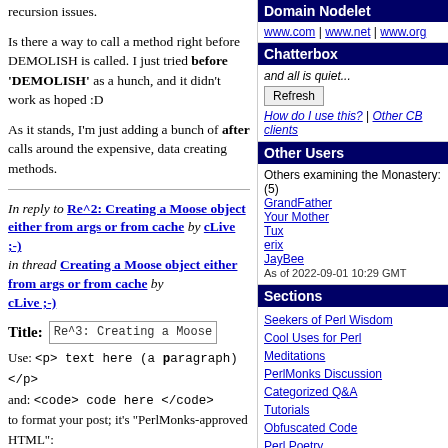recursion issues.
Is there a way to call a method right before DEMOLISH is called. I just tried before 'DEMOLISH' as a hunch, and it didn't work as hoped :D
As it stands, I'm just adding a bunch of after calls around the expensive, data creating methods.
In reply to Re^2: Creating a Moose object either from args or from cache by cLive ;-)
in thread Creating a Moose object either from args or from cache by cLive ;-)
Title: Re^3: Creating a Moose obje
Use: <p> text here (a paragraph) </p>
and: <code> code here </code>
to format your post; it's "PerlMonks-approved HTML":
Domain Nodelet
www.com | www.net | www.org
Chatterbox
and all is quiet...
Refresh
How do I use this? | Other CB clients
Other Users
Others examining the Monastery: (5)
GrandFather
Your Mother
Tux
erix
JayBee
As of 2022-09-01 10:29 GMT
Sections
Seekers of Perl Wisdom
Cool Uses for Perl
Meditations
PerlMonks Discussion
Categorized Q&A
Tutorials
Obfuscated Code
Perl Poetry
Perl News
about